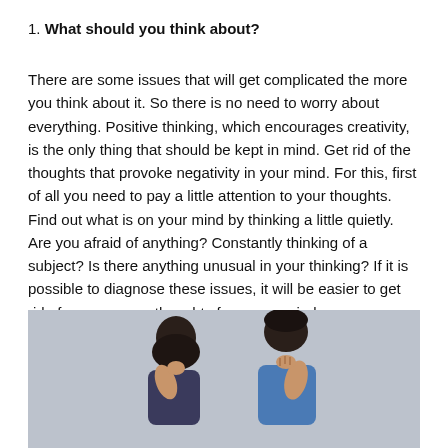1. What should you think about?
There are some issues that will get complicated the more you think about it. So there is no need to worry about everything. Positive thinking, which encourages creativity, is the only thing that should be kept in mind. Get rid of the thoughts that provoke negativity in your mind. For this, first of all you need to pay a little attention to your thoughts. Find out what is on your mind by thinking a little quietly. Are you afraid of anything? Constantly thinking of a subject? Is there anything unusual in your thinking? If it is possible to diagnose these issues, it will be easier to get rid of unnecessary thoughts from your mind.
[Figure (photo): A man and a woman sitting back to back, both with their hands on their faces in a stressed or thinking pose, against a light grey background.]